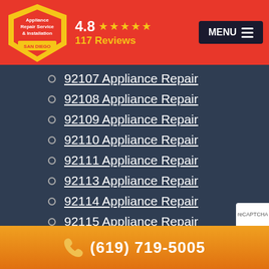Appliance Repair Service & Installation SAN DIEGO | 4.8 ★★★★★ 117 Reviews | MENU
92107 Appliance Repair
92108 Appliance Repair
92109 Appliance Repair
92110 Appliance Repair
92111 Appliance Repair
92113 Appliance Repair
92114 Appliance Repair
92115 Appliance Repair
92116 Appliance Repair
92117 Appliance Repair
(619) 719-5005